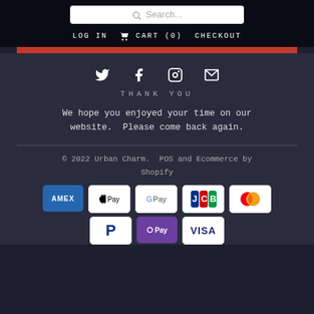Search... | LOG IN  🛒 CART (0)  CHECKOUT
[Figure (illustration): Red horizontal bar divider]
[Figure (infographic): Social media icons: Twitter, Facebook, Instagram, Email]
THANK YOU
We hope you enjoyed your time on our website.  Please come back again.
© 2022 Urban Charm.  POS and Ecommerce by Shopify
[Figure (infographic): Payment method badges: AMEX, Apple Pay, G Pay, JCB, Mastercard, PayPal, O Pay, VISA]